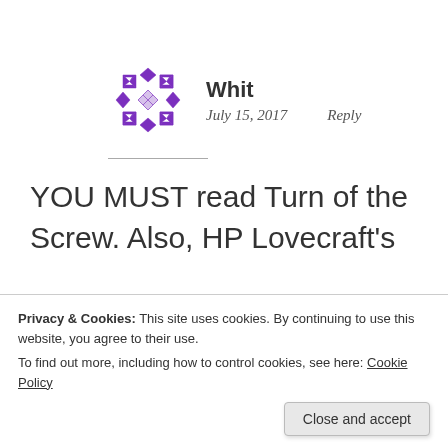[Figure (illustration): Purple geometric quilt-pattern avatar icon for user Whit]
Whit
July 15, 2017    Reply
YOU MUST read Turn of the Screw. Also, HP Lovecraft's
Privacy & Cookies: This site uses cookies. By continuing to use this website, you agree to their use.
To find out more, including how to control cookies, see here: Cookie Policy
Close and accept